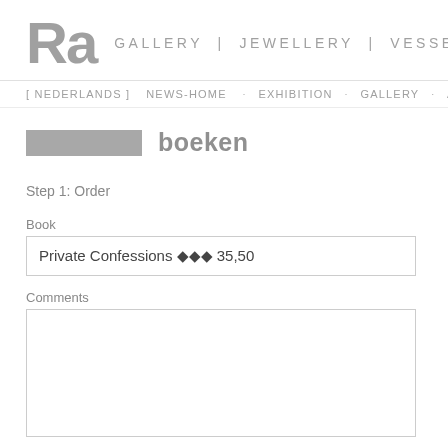Ra GALLERY | JEWELLERY | VESSELS |
[ NEDERLANDS ] NEWS-HOME · EXHIBITION · GALLERY · ARTISTS-C
boeken
Step 1: Order
Book
Private Confessions ♦♦♦ 35,50
Comments